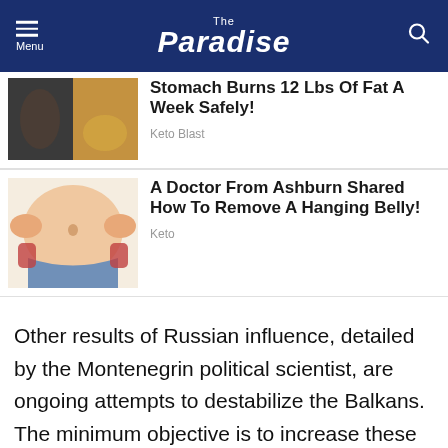The Paradise
Stomach Burns 12 Lbs Of Fat A Week Safely!
Keto Blast
[Figure (photo): Cartoon/photo collage of fitness and turmeric powder]
A Doctor From Ashburn Shared How To Remove A Hanging Belly!
Keto
[Figure (illustration): Illustration of overweight belly with hands squeezing sides]
Other results of Russian influence, detailed by the Montenegrin political scientist, are ongoing attempts to destabilize the Balkans. The minimum objective is to increase these countries’ dependence on the “peacekeeping” efforts of Moscow; while the maximalist goal may be to create a new full-scale